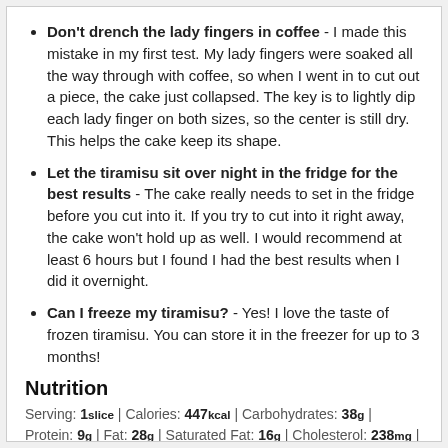Don't drench the lady fingers in coffee - I made this mistake in my first test. My lady fingers were soaked all the way through with coffee, so when I went in to cut out a piece, the cake just collapsed. The key is to lightly dip each lady finger on both sizes, so the center is still dry. This helps the cake keep its shape.
Let the tiramisu sit over night in the fridge for the best results - The cake really needs to set in the fridge before you cut into it. If you try to cut into it right away, the cake won't hold up as well. I would recommend at least 6 hours but I found I had the best results when I did it overnight.
Can I freeze my tiramisu? - Yes! I love the taste of frozen tiramisu. You can store it in the freezer for up to 3 months!
Nutrition
Serving: 1slice | Calories: 447kcal | Carbohydrates: 38g | Protein: 9g | Fat: 28g | Saturated Fat: 16g | Cholesterol: 238mg | Sodium: 114mg | Potassium: 145mg | Fiber: 1g | Sugar: 7g | Vitamin A: 1130IU | Vitamin C: 1mg | Calcium: 117mg | Iron: 2mg